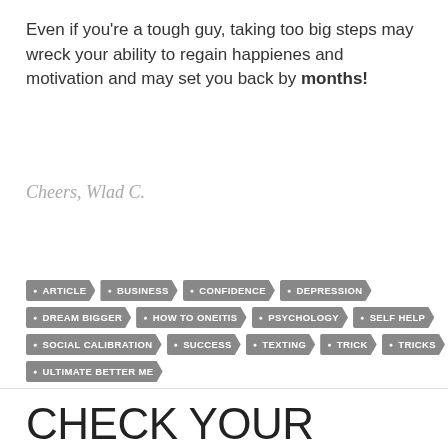Even if you're a tough guy, taking too big steps may wreck your ability to regain happienes and motivation and may set you back by months!
Cheers, Wlad C.
Tags: ARTICLE • BUSINESS • CONFIDENCE • DEPRESSION • DREAM BIGGER • HOW TO ONEITIS • PSYCHOLOGY • SELF HELP • SOCIAL CALIBRATION • SUCCESS • TEXTING • TRICK • TRICKS • ULTIMATE BETTER ME
CHECK YOUR CONGRUENCE TO FIX